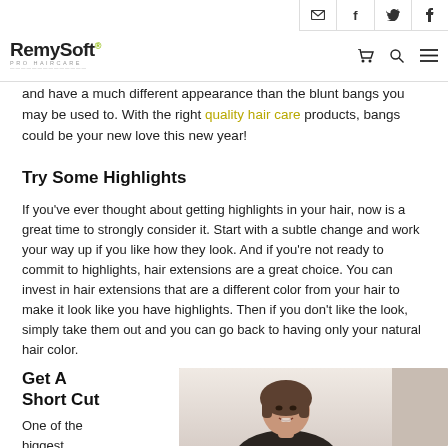RemySoft Pro Haircare — navigation bar with email, facebook, twitter, pinterest icons, cart, search, menu
and have a much different appearance than the blunt bangs you may be used to. With the right quality hair care products, bangs could be your new love this new year!
Try Some Highlights
If you've ever thought about getting highlights in your hair, now is a great time to strongly consider it. Start with a subtle change and work your way up if you like how they look. And if you're not ready to commit to highlights, hair extensions are a great choice. You can invest in hair extensions that are a different color from your hair to make it look like you have highlights. Then if you don't like the look, simply take them out and you can go back to having only your natural hair color.
Get A Short Cut
One of the biggest
[Figure (photo): Woman with short brown bob haircut, smiling, photographed against a light background]